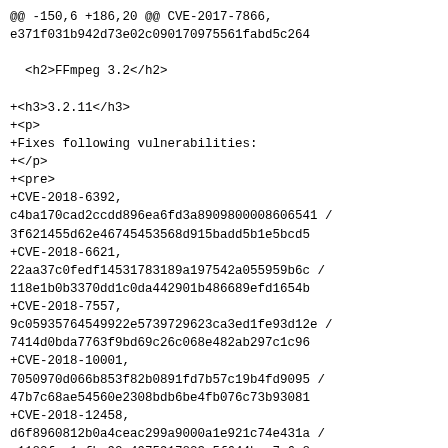@@ -150,6 +186,20 @@ CVE-2017-7866,
e371f031b942d73e02c090170975561fabd5c264

  <h2>FFmpeg 3.2</h2>

+<h3>3.2.11</h3>
+<p>
+Fixes following vulnerabilities:
+</p>
+<pre>
+CVE-2018-6392,
c4ba170cad2ccdd896ea6fd3a8909800008606541 /
3f621455d62e46745453568d915badd5b1e5bcd5
+CVE-2018-6621,
22aa37c0fedf14531783189a197542a055959b6c /
118e1b0b3370dd1c0da442901b486689efd1654b
+CVE-2018-7557,
9c05935764549922e5739729623ca3ed1fe93d12e /
7414d0bda7763f9bd69c26c068e482ab297c1c96
+CVE-2018-10001,
7050970d066b853f82b0891fd7b57c19b4fd9095 /
47b7c68ae54560e2308bdb6be4fb076c73b93081
+CVE-2018-12458,
d6f8960812b0a4ceac299a9000a1e921c74e431a /
e1182fac1afba92a4975917823a5f644bee7e6e8
+CVE-2018-13300,
e6d3fd942f772f54ab6a5ca619cdaadef26b7702 /
95556e27e2c1d56d9e18f5db34d6f756f3011148
+CVE-2018-13302,
92972f19168f323cfe133a42abf130a5f159bfd6 /